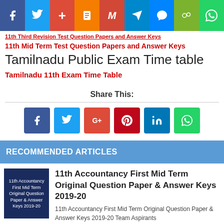[Figure (screenshot): Top social sharing bar with icons: Facebook, Twitter, Google+, Blogger, Gmail, Telegram, Messenger, WeChat, WhatsApp]
11th Third Revision Test Question Papers and Answer Keys
11th Mid Term Test Question Papers and Answer Keys
Tamilnadu Public Exam Time table
Tamilnadu 11th Exam Time Table
Share This:
[Figure (screenshot): Share icons row: Facebook (blue), Twitter (light blue), Google+ (red), Pinterest (dark red), LinkedIn (blue), WhatsApp (green)]
RECOMMENDED ARTICLES
[Figure (screenshot): Thumbnail image for 11th Accountancy article with dark blue background and white text]
11th Accountancy First Mid Term Original Question Paper & Answer Keys 2019-20
11th Accountancy First Mid Term Original Question Paper & Answer Keys 2019-20 Team Aspirants